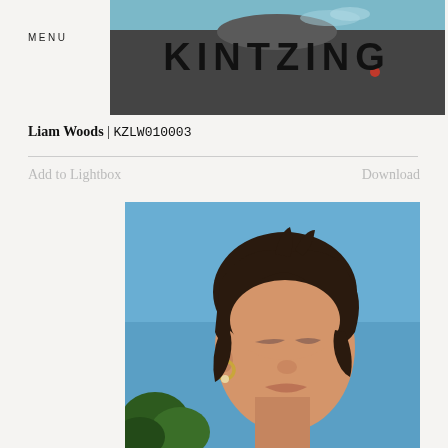MENU
[Figure (photo): Header banner photo showing a person wearing a dark grey button-up shirt against a blue sky background, cropped to show torso area. Large bold text KINTZING overlaid.]
Liam Woods | KZLW010003
Add to Lightbox
Download
[Figure (photo): Portrait photo of a young woman with short dark hair, eyes closed, tilting her face upward toward a bright blue sky. She is wearing a small gold hoop earring. Green tree foliage is visible in the lower left background.]